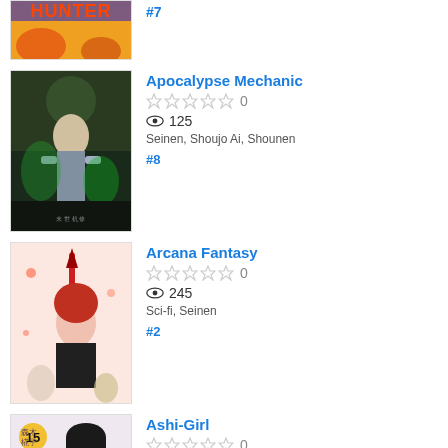[Figure (illustration): Partial manga cover showing 'HUNTER' text at top, cropped]
#7
[Figure (illustration): Apocalypse Mechanic manga cover with action scene character]
Apocalypse Mechanic
★★★★★ 0
👁 125
Seinen, Shoujo Ai, Shounen
#8
[Figure (illustration): Arcana Fantasy manga cover with red-haired character]
Arcana Fantasy
★★★★★ 0
👁 245
Sci-fi, Seinen
#2
[Figure (illustration): Ashi-Girl manga cover volume 15 with girl character]
Ashi-Girl
★★★★★ 0